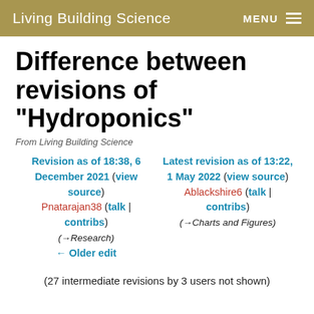Living Building Science  MENU
Difference between revisions of "Hydroponics"
From Living Building Science
Revision as of 18:38, 6 December 2021 (view source)
Pnatarajan38 (talk | contribs)
(→Research)
← Older edit
Latest revision as of 13:22, 1 May 2022 (view source)
Ablackshire6 (talk | contribs)
(→Charts and Figures)
(27 intermediate revisions by 3 users not shown)